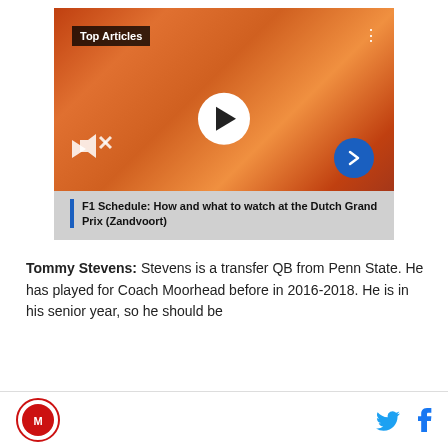[Figure (screenshot): Video player thumbnail showing a crowd of people in orange colors at what appears to be a Dutch Grand Prix event, with play button, volume icon, arrow button, and 'Top Articles' badge overlay. Caption reads: F1 Schedule: How and what to watch at the Dutch Grand Prix (Zandvoort)]
Tommy Stevens: Stevens is a transfer QB from Penn State. He has played for Coach Moorhead before in 2016-2018. He is in his senior year, so he should be
[site logo] [Twitter icon] [Facebook icon]